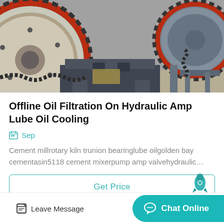[Figure (photo): Industrial cement mill / ball mill machinery with large red-rimmed gear wheel and gray cylindrical drum on metal frame, factory floor setting]
Offline Oil Filtration On Hydraulic Amp Lube Oil Cooling
Sep
Cement millrotary kiln trunion bearinglube oilgolden bay cementasin5118 cement mixerpump amp valvehydraulic…
Get Price
Leave Message
Chat Online